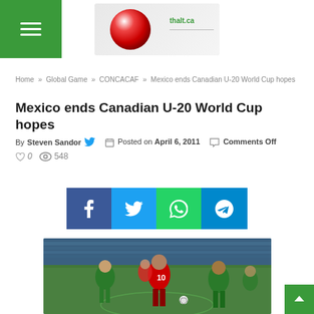Navigation header with green menu icon and site logo/banner
Home » Global Game » CONCACAF » Mexico ends Canadian U-20 World Cup hopes
Mexico ends Canadian U-20 World Cup hopes
By Steven Sandor  Posted on April 6, 2011  Comments Off  0  548
[Figure (other): Social sharing buttons: Facebook, Twitter, WhatsApp, Telegram]
[Figure (photo): Soccer players in action on a field, player wearing number 10 red jersey surrounded by players in green jerseys]